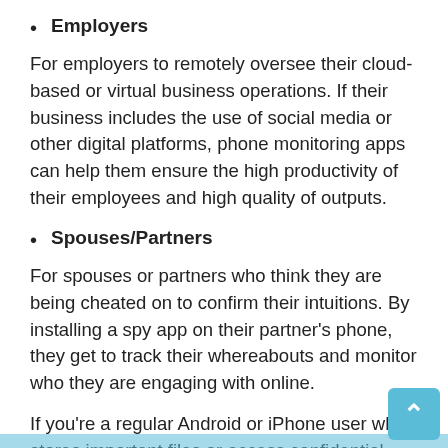Employers
For employers to remotely oversee their cloud-based or virtual business operations. If their business includes the use of social media or other digital platforms, phone monitoring apps can help them ensure the high productivity of their employees and high quality of outputs.
Spouses/Partners
For spouses or partners who think they are being cheated on to confirm their intuitions. By installing a spy app on their partner's phone, they get to track their whereabouts and monitor who they are engaging with online.
If you're a regular Android or iPhone user who stores important files or access confidential accounts on your mobile device, spy apps can also significantly help you in securing your data. Aside from monitoring, tracking,